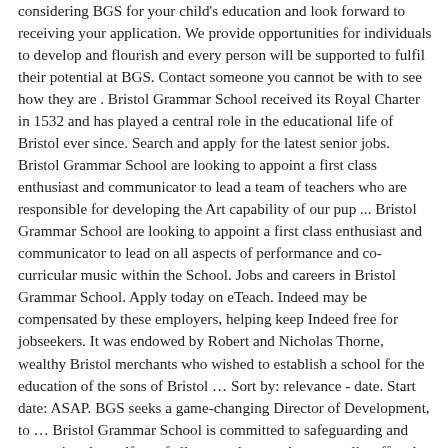considering BGS for your child's education and look forward to receiving your application. We provide opportunities for individuals to develop and flourish and every person will be supported to fulfil their potential at BGS. Contact someone you cannot be with to see how they are . Bristol Grammar School received its Royal Charter in 1532 and has played a central role in the educational life of Bristol ever since. Search and apply for the latest senior jobs. Bristol Grammar School are looking to appoint a first class enthusiast and communicator to lead a team of teachers who are responsible for developing the Art capability of our pup ... Bristol Grammar School are looking to appoint a first class enthusiast and communicator to lead on all aspects of performance and co-curricular music within the School. Jobs and careers in Bristol Grammar School. Apply today on eTeach. Indeed may be compensated by these employers, helping keep Indeed free for jobseekers. It was endowed by Robert and Nicholas Thorne, wealthy Bristol merchants who wished to establish a school for the education of the sons of Bristol … Sort by: relevance - date. Start date: ASAP. BGS seeks a game-changing Director of Development, to … Bristol Grammar School is committed to safeguarding and promoting the welfare of all our students and expects all staff and volunteers to share this commitment. Staff would go the extra mile to make sure the children and adults were happy and able to learn in the best possible ways. Overview. #BGSDrama #BGSScholars #PerformingArts Full time salary in